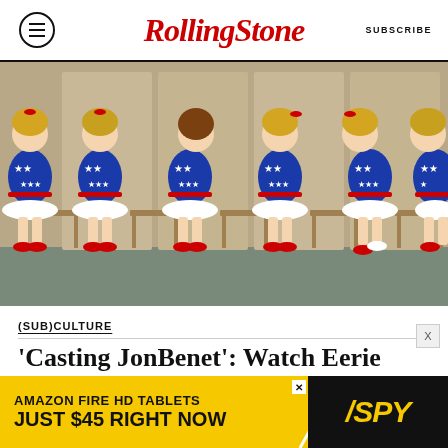RollingStone  SUBSCRIBE
[Figure (photo): Several young girls in matching blue star-patterned dresses with red trim sitting on chairs in a row, wearing red shoes, in a pageant or audition setting.]
(SUB)CULTURE
'Casting JonBenet': Watch Eerie First Clip From New Netflix Doc
[Figure (advertisement): Amazon Fire HD Tablets ad — 'AMAZON FIRE HD TABLETS JUST $45 RIGHT NOW' with SPY logo on black background, yellow background.]